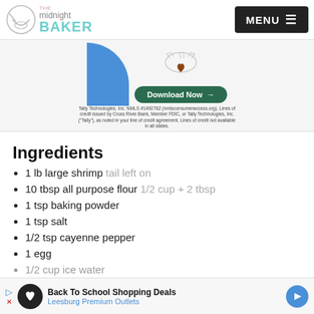The Midnight BAKER | MENU
[Figure (illustration): Advertisement banner with blue decorative shape, hands illustration, Download Now button, and Tally Technologies disclaimer text]
Ingredients
1 lb large shrimp tail left on
10 tbsp all purpose flour 1/2 cup + 2 tbsp
1 tsp baking powder
1 tsp salt
1/2 tsp cayenne pepper
1 egg
1/2 cup ice water
[Figure (infographic): Bottom advertisement: Back To School Shopping Deals - Leesburg Premium Outlets]